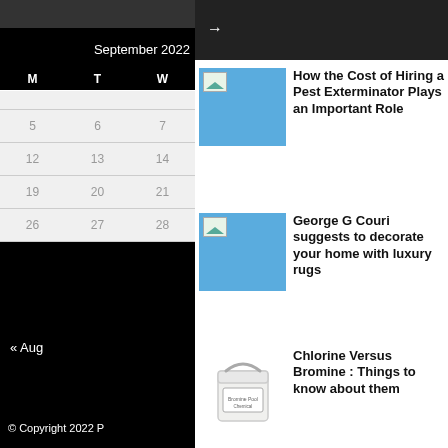September 2022
| M | T | W |
| --- | --- | --- |
|  |  |  |
| 5 | 6 | 7 |
| 12 | 13 | 14 |
| 19 | 20 | 21 |
| 26 | 27 | 28 |
« Aug
© Copyright 2022 P
[Figure (screenshot): Arrow pointing right on dark background]
How the Cost of Hiring a Pest Exterminator Plays an Important Role
George G Couri suggests to decorate your home with luxury rugs
Chlorine Versus Bromine : Things to know about them